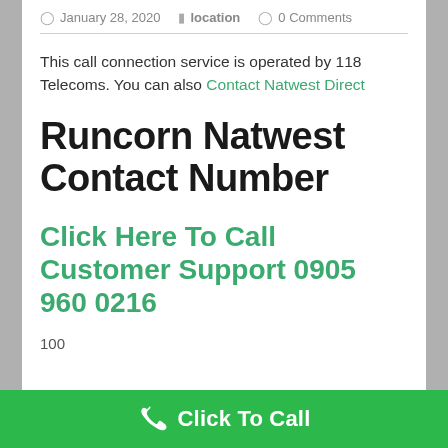January 28, 2020 | location | 0 Comments
This call connection service is operated by 118 Telecoms. You can also Contact Natwest Direct
Runcorn Natwest Contact Number
Click Here To Call Customer Support 0905 960 0216
100
Click To Call